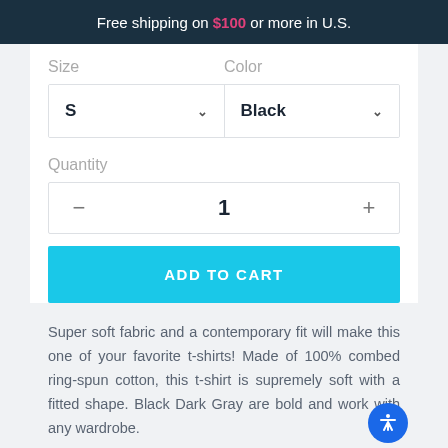Free shipping on $100 or more in U.S.
Size
Color
S
Black
Quantity
1
ADD TO CART
Super soft fabric and a contemporary fit will make this one of your favorite t-shirts! Made of 100% combed ring-spun cotton, this t-shirt is supremely soft with a fitted shape. Black Dark Gray are bold and work with any wardrobe.